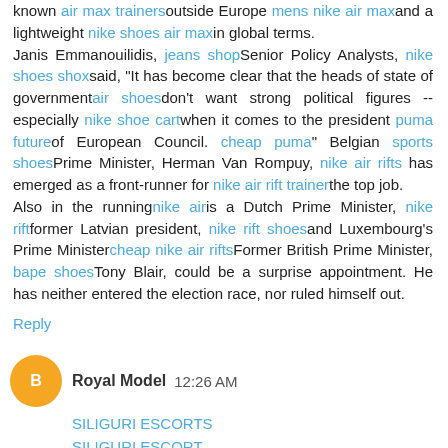known air max trainersoutside Europe mens nike air maxand a lightweight nike shoes air maxin global terms. Janis Emmanouilidis, jeans shopSenior Policy Analysts, nike shoes shoxsaid, "It has become clear that the heads of state of governmentair shoesdon't want strong political figures -- especially nike shoe cartwhen it comes to the president puma futureof European Council. cheap puma" Belgian sports shoesPrime Minister, Herman Van Rompuy, nike air rifts has emerged as a front-runner for nike air rift trainerthe top job. Also in the runningnike airis a Dutch Prime Minister, nike riftformer Latvian president, nike rift shoesand Luxembourg's Prime Ministercheap nike air riftsFormer British Prime Minister, bape shoesTony Blair, could be a surprise appointment. He has neither entered the election race, nor ruled himself out.
Reply
Royal Model 12:26 AM
SILIGURI ESCORTS
SILIGURI ESCORT